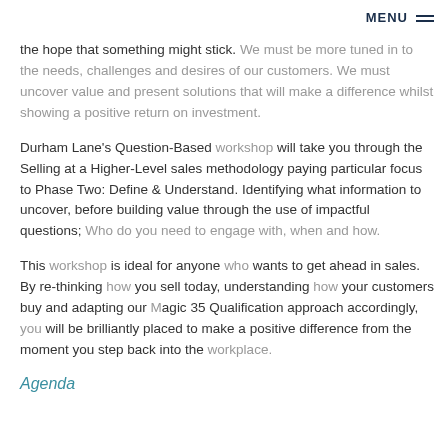MENU ≡
the hope that something might stick. We must be more tuned in to the needs, challenges and desires of our customers. We must uncover value and present solutions that will make a difference whilst showing a positive return on investment.
Durham Lane's Question-Based workshop will take you through the Selling at a Higher-Level sales methodology paying particular focus to Phase Two: Define & Understand. Identifying what information to uncover, before building value through the use of impactful questions; Who do you need to engage with, when and how.
This workshop is ideal for anyone who wants to get ahead in sales. By re-thinking how you sell today, understanding how your customers buy and adapting our Magic 35 Qualification approach accordingly, you will be brilliantly placed to make a positive difference from the moment you step back into the workplace.
Agenda